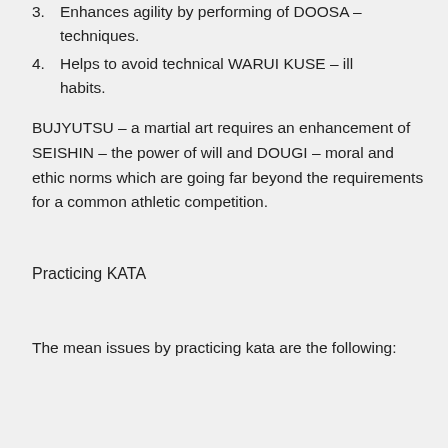3. Enhances agility by performing of DOOSA – techniques.
4. Helps to avoid technical WARUI KUSE – ill habits.
BUJYUTSU – a martial art requires an enhancement of SEISHIN – the power of will and DOUGI – moral and ethic norms which are going far beyond the requirements for a common athletic competition.
Practicing KATA
The mean issues by practicing kata are the following: